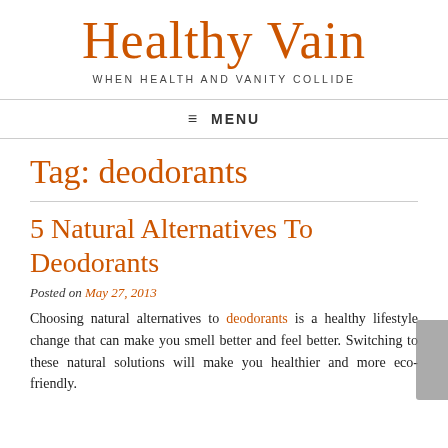Healthy Vain — WHEN HEALTH AND VANITY COLLIDE
≡ MENU
Tag: deodorants
5 Natural Alternatives To Deodorants
Posted on May 27, 2013
Choosing natural alternatives to deodorants is a healthy lifestyle change that can make you smell better and feel better. Switching to these natural solutions will make you healthier and more eco-friendly.